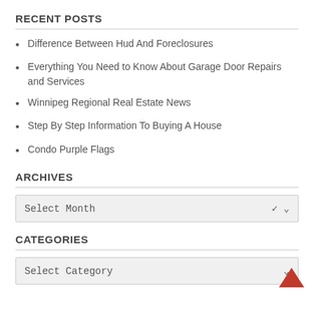RECENT POSTS
Difference Between Hud And Foreclosures
Everything You Need to Know About Garage Door Repairs and Services
Winnipeg Regional Real Estate News
Step By Step Information To Buying A House
Condo Purple Flags
ARCHIVES
Select Month
CATEGORIES
Select Category